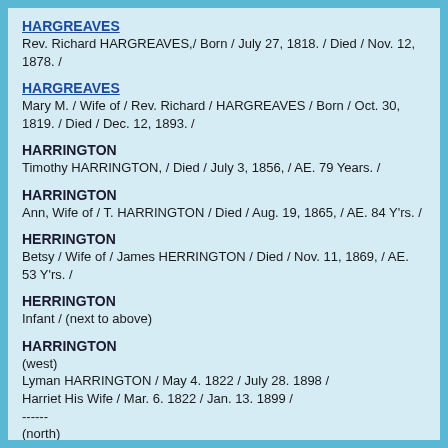HARGREAVES
Rev. Richard HARGREAVES,/ Born / July 27, 1818. / Died / Nov. 12, 1878. /
HARGREAVES
Mary M. / Wife of / Rev. Richard / HARGREAVES / Born / Oct. 30, 1819. / Died / Dec. 12, 1893. /
HARRINGTON
Timothy HARRINGTON, / Died / July 3, 1856, / AE. 79 Years. /
HARRINGTON
Ann, Wife of / T. HARRINGTON / Died / Aug. 19, 1865, / AE. 84 Y'rs. /
HERRINGTON
Betsy / Wife of / James HERRINGTON / Died / Nov. 11, 1869, / AE. 53 Y'rs. /
HERRINGTON
Infant / (next to above)
HARRINGTON
(west)
Lyman HARRINGTON / May 4. 1822 / July 28. 1898 /
Harriet His Wife / Mar. 6. 1822 / Jan. 13. 1899 /
------
(north)
Elijah F. RAINEY / Born 17. 1555 / (illegible)